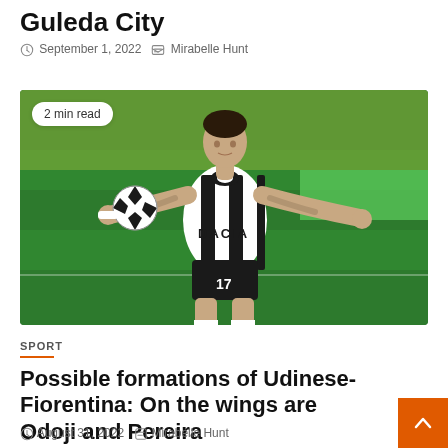Guleda City
September 1, 2022  Mirabelle Hunt
[Figure (photo): Football player in black and white striped Udinese kit with DACIA sponsor, controlling a ball. Jersey number 17. Stadium background with green pitch. Badge reading '2 min read' in top left corner.]
SPORT
Possible formations of Udinese-Fiorentina: On the wings are Odoji and Pereira
August 31, 2022  Mirabelle Hunt